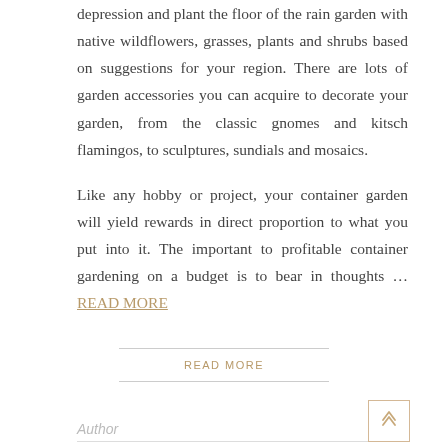depression and plant the floor of the rain garden with native wildflowers, grasses, plants and shrubs based on suggestions for your region. There are lots of garden accessories you can acquire to decorate your garden, from the classic gnomes and kitsch flamingos, to sculptures, sundials and mosaics.

Like any hobby or project, your container garden will yield rewards in direct proportion to what you put into it. The important to profitable container gardening on a budget is to bear in thoughts … READ MORE
READ MORE
Author